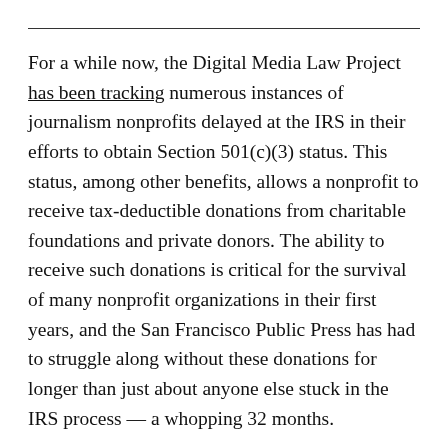For a while now, the Digital Media Law Project has been tracking numerous instances of journalism nonprofits delayed at the IRS in their efforts to obtain Section 501(c)(3) status. This status, among other benefits, allows a nonprofit to receive tax-deductible donations from charitable foundations and private donors. The ability to receive such donations is critical for the survival of many nonprofit organizations in their first years, and the San Francisco Public Press has had to struggle along without these donations for longer than just about anyone else stuck in the IRS process — a whopping 32 months.